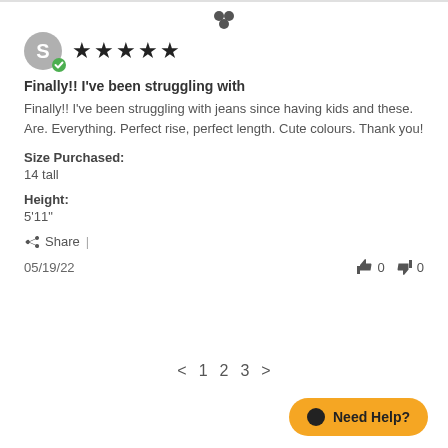[Figure (other): Small decorative icon at top center of page]
Finally!! I've been struggling with
Finally!! I've been struggling with jeans since having kids and these. Are. Everything. Perfect rise, perfect length. Cute colours. Thank you!
Size Purchased: 14 tall
Height: 5'11"
Share |
05/19/22   👍 0   👎 0
< 1 2 3 >
Need Help?